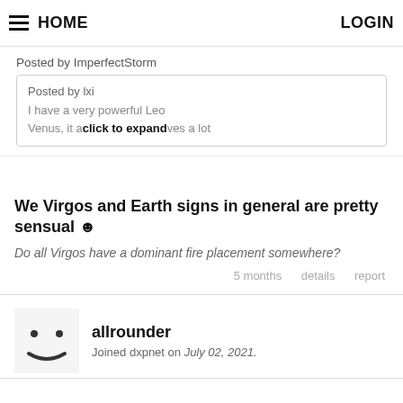HOME   LOGIN
Posted by ImperfectStorm
Posted by lxi
I have a very powerful Leo Venus, it attracts... click to expand ...ves a lot
We Virgos and Earth signs in general are pretty sensual ☺
Do all Virgos have a dominant fire placement somewhere?
5 months   details   report
allrounder
Joined dxpnet on July 02, 2021.